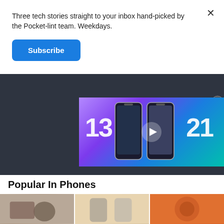Three tech stories straight to your inbox hand-picked by the Pocket-lint team. Weekdays.
Subscribe
[Figure (screenshot): Video thumbnail showing two smartphones labeled 13 and 21 with a play button overlay, on a dark background panel]
Popular In Phones
[Figure (photo): Three thumbnail images of phones/tech products in a row at the bottom of the page]